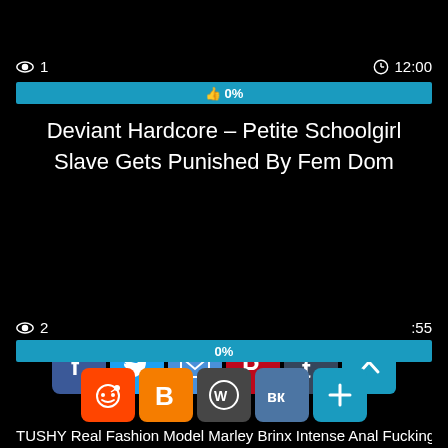👁 1   🕐 12:00
[Figure (screenshot): Progress bar showing 0% likes with thumbs up icon, cyan/blue color]
Deviant Hardcore – Petite Schoolgirl Slave Gets Punished By Fem Dom
👁 2   :55
[Figure (screenshot): Social sharing buttons: Facebook, Twitter, Email, Pinterest, Tumblr, scroll-to-top, Reddit, Blogger, WordPress, VK, Plus]
TUSHY Real Fashion Model Marley Brinx Intense Anal Fucking!